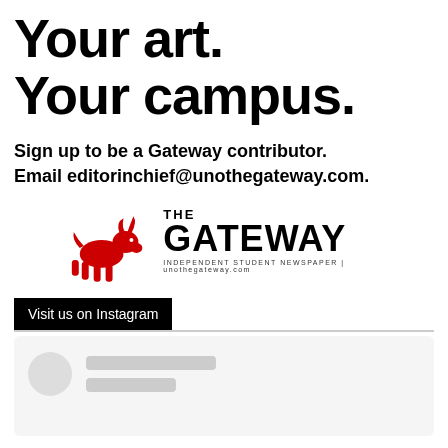Your art.
Your campus.
Sign up to be a Gateway contributor.
Email editorinchief@unothegateway.com.
[Figure (logo): The Gateway independent student newspaper logo with red bull mascot]
Visit us on Instagram
[Figure (screenshot): Instagram widget loading placeholder with grey circle avatar and grey content bars]